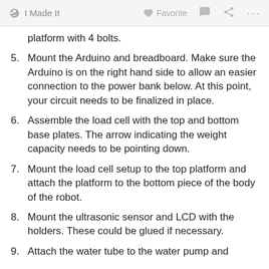I Made It   Favorite   ... ...
platform with 4 bolts.
5. Mount the Arduino and breadboard. Make sure the Arduino is on the right hand side to allow an easier connection to the power bank below. At this point, your circuit needs to be finalized in place.
6. Assemble the load cell with the top and bottom base plates. The arrow indicating the weight capacity needs to be pointing down.
7. Mount the load cell setup to the top platform and attach the platform to the bottom piece of the body of the robot.
8. Mount the ultrasonic sensor and LCD with the holders. These could be glued if necessary.
9. Attach the water tube to the water pump and